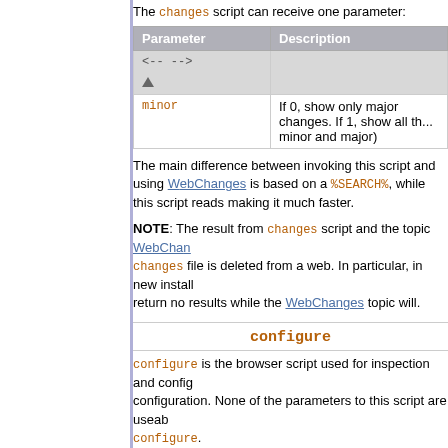The changes script can receive one parameter:
| Parameter | Description |
| --- | --- |
| <-- --> | ▲ |
| minor | If 0, show only major changes. If 1, show all th... minor and major) |
The main difference between invoking this script and using WebChanges is based on a %SEARCH%, while this script reads making it much faster.
NOTE: The result from changes script and the topic WebChanges changes file is deleted from a web. In particular, in new install return no results while the WebChanges topic will.
configure
configure is the browser script used for inspection and config configuration. None of the parameters to this script are useable configure.
edit